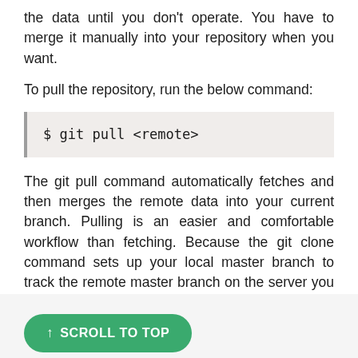the data until you don't operate. You have to merge it manually into your repository when you want.
To pull the repository, run the below command:
$ git pull <remote>
The git pull command automatically fetches and then merges the remote data into your current branch. Pulling is an easier and comfortable workflow than fetching. Because the git clone command sets up your local master branch to track the remote master branch on the server you cloned.
↑ SCROLL TO TOP